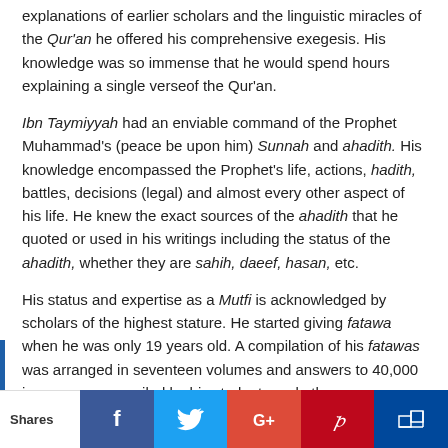explanations of earlier scholars and the linguistic miracles of the Qur'an he offered his comprehensive exegesis. His knowledge was so immense that he would spend hours explaining a single verse of the Qur'an.
Ibn Taymiyyah had an enviable command of the Prophet Muhammad's (peace be upon him) Sunnah and ahadith. His knowledge encompassed the Prophet's life, actions, hadith, battles, decisions (legal) and almost every other aspect of his life. He knew the exact sources of the ahadith that he quoted or used in his writings including the status of the ahadith, whether they are sahih, daeef, hasan, etc.
His status and expertise as a Mutfi is acknowledged by scholars of the highest stature. He started giving fatawa when he was only 19 years old. A compilation of his fatawas was arranged in seventeen volumes and answers to 40,000 issues were compiled by his students and other companions. His grasp of all of the sources of Islamic knowledge is evident in his fatawas, which are so comprehensive and scholarly that each answer can be turned into a book that would take average scholars a long time to compile.
Shares